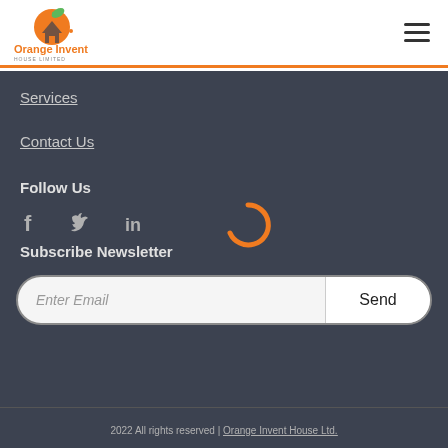[Figure (logo): Orange Invent House Ltd. logo with orange fruit and house graphic, colored orange and green]
[Figure (illustration): Hamburger menu icon (three horizontal lines)]
Services
Contact Us
Follow Us
[Figure (illustration): Social media icons: Facebook (f), Twitter (bird), LinkedIn (in)]
[Figure (illustration): Orange loading/spinner arc icon]
Subscribe Newsletter
[Figure (illustration): Email input field with placeholder 'Enter Email' and Send button]
2022 All rights reserved | Orange Invent House Ltd.